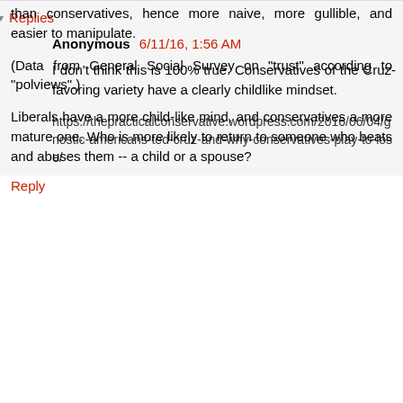than conservatives, hence more naive, more gullible, and easier to manipulate.
(Data from General Social Survey on "trust" according to "polviews".)
Liberals have a more child-like mind, and conservatives a more mature one. Who is more likely to return to someone who beats and abuses them -- a child or a spouse?
Reply
Replies
Anonymous 6/11/16, 1:56 AM
I don't think this is 100% true. Conservatives of the Cruz-favoring variety have a clearly childlike mindset.
https://thepracticalconservative.wordpress.com/2016/06/04/gnostic-americans-ted-cruz-and-why-conservatives-play-to-lose/